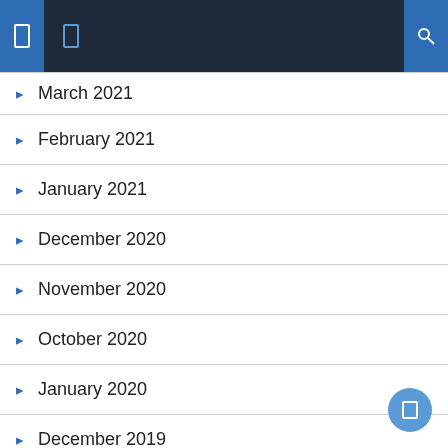Navigation header bar with icons
March 2021
February 2021
January 2021
December 2020
November 2020
October 2020
January 2020
December 2019
October 2019
June 2019